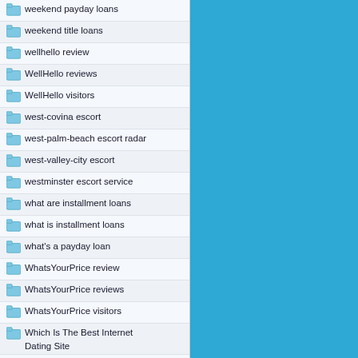weekend payday loans
weekend title loans
wellhello review
WellHello reviews
WellHello visitors
west-covina escort
west-palm-beach escort radar
west-valley-city escort
westminster escort service
what are installment loans
what is installment loans
what's a payday loan
WhatsYourPrice review
WhatsYourPrice reviews
WhatsYourPrice visitors
Which Is The Best Internet Dating Site
whiplr pl review
Whiplr visitors
White Dating Sites username
why are payday loans legal
WildBuddies review
WildBuddies visitors
Willow review